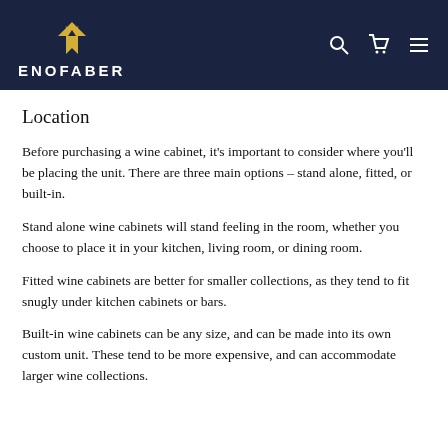ENOFABER
Location
Before purchasing a wine cabinet, it's important to consider where you'll be placing the unit. There are three main options – stand alone, fitted, or built-in.
Stand alone wine cabinets will stand feeling in the room, whether you choose to place it in your kitchen, living room, or dining room.
Fitted wine cabinets are better for smaller collections, as they tend to fit snugly under kitchen cabinets or bars.
Built-in wine cabinets can be any size, and can be made into its own custom unit. These tend to be more expensive, and can accommodate larger wine collections.